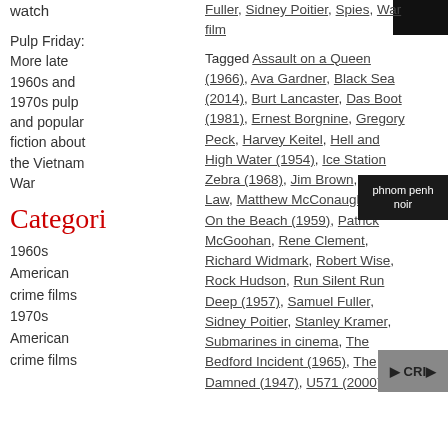watch
Fuller, Sidney Poitier, Spies, War film
[Figure (photo): Black rectangle thumbnail at top right]
Pulp Friday: More late 1960s and 1970s pulp and popular fiction about the Vietnam War
Tagged Assault on a Queen (1966), Ava Gardner, Black Sea (2014), Burt Lancaster, Das Boot (1981), Ernest Borgnine, Gregory Peck, Harvey Keitel, Hell and High Water (1954), Ice Station Zebra (1968), Jim Brown, Jude Law, Matthew McConaughey, On the Beach (1959), Patrick McGoohan, Rene Clement, Richard Widmark, Robert Wise, Rock Hudson, Run Silent Run Deep (1957), Samuel Fuller, Sidney Poitier, Stanley Kramer, Submarines in cinema, The Bedford Incident (1965), The Damned (1947), U571 (2000)
[Figure (photo): Dark thumbnail with text phnom penh noir]
Categori
1960s American crime films
1970s American crime films
[Figure (photo): Small photo thumbnail at bottom right]